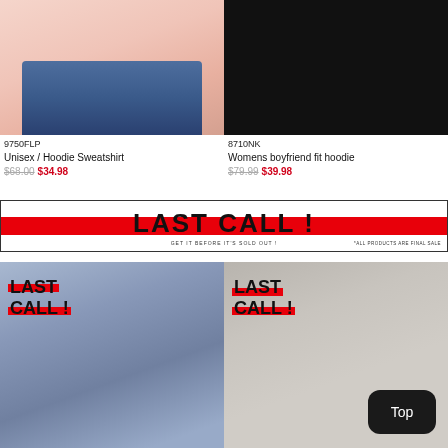[Figure (photo): Pink hoodie sweatshirt product photo on model with jeans]
9750FLP
Unisex / Hoodie Sweatshirt
$68.00 $34.98
[Figure (photo): Black womens boyfriend fit hoodie product photo on model]
8710NK
Womens boyfriend fit hoodie
$79.99 $39.98
[Figure (infographic): LAST CALL! banner with red stripe. Text: GET IT BEFORE IT'S SOLD OUT! *ALL PRODUCTS ARE FINAL SALE]
[Figure (photo): Last Call badge over denim jacket product photo]
[Figure (photo): Last Call badge over black bodysuit product photo with Top button]